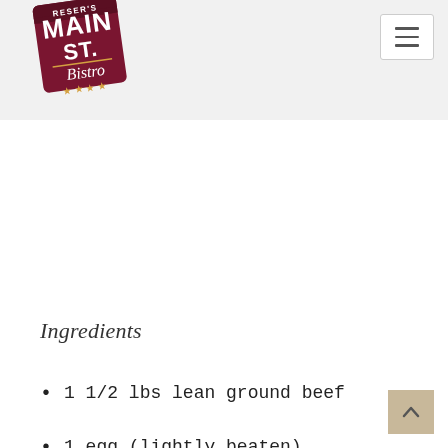[Figure (logo): Reser's Main St. Bistro logo — dark red square rotated slightly, white text reading MAIN ST. Bistro with four gold stars]
Ingredients
1 1/2 lbs lean ground beef
1 egg (lightly beaten)
1 English muffin, toasted & crumbled into breadcrumbs